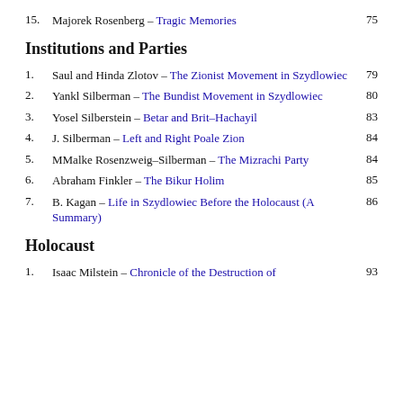15. Majorek Rosenberg – Tragic Memories    75
Institutions and Parties
1. Saul and Hinda Zlotov – The Zionist Movement in Szydlowiec    79
2. Yankl Silberman – The Bundist Movement in Szydlowiec    80
3. Yosel Silberstein – Betar and Brit–Hachayil    83
4. J. Silberman – Left and Right Poale Zion    84
5. MMalke Rosenzweig–Silberman – The Mizrachi Party    84
6. Abraham Finkler – The Bikur Holim    85
7. B. Kagan – Life in Szydlowiec Before the Holocaust (A Summary)    86
Holocaust
1. Isaac Milstein – Chronicle of the Destruction of    93